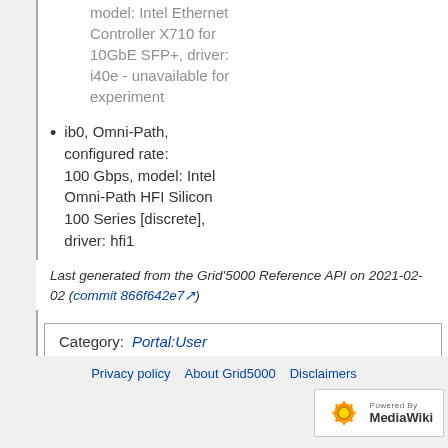model: Intel Ethernet Controller X710 for 10GbE SFP+, driver: i40e - unavailable for experiment
ib0, Omni-Path, configured rate: 100 Gbps, model: Intel Omni-Path HFI Silicon 100 Series [discrete], driver: hfi1
Last generated from the Grid'5000 Reference API on 2021-02-02 (commit 866f642e7)
Category:  Portal:User
Privacy policy   About Grid5000   Disclaimers